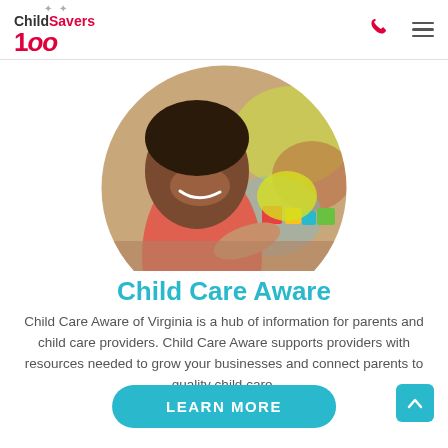ChildSavers 100 — navigation header with phone and menu icons
[Figure (photo): Circular cropped photo of a smiling young child at a table with colorful toys in a child care setting]
Child Care Aware
Child Care Aware of Virginia is a hub of information for parents and child care providers. Child Care Aware supports providers with resources needed to grow your businesses and connect parents to quality child care.
[Figure (other): LEARN MORE button (teal rounded rectangle)]
[Figure (other): Back to top arrow button (teal square with chevron up)]